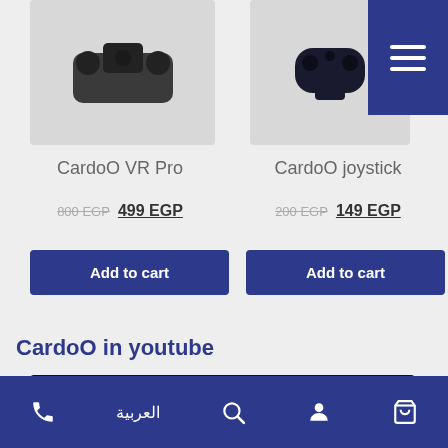[Figure (screenshot): Top partial view of two product images: CardoO VR Pro headset (left) and CardoO joystick (right) on light gray background]
[Figure (infographic): Blue hamburger menu button in top-right corner]
CardoO VR Pro
800 EGP  499 EGP
Add to cart
CardoO joystick
200 EGP  149 EGP
Add to cart
CardoO in youtube
[Figure (screenshot): YouTube video thumbnail showing CardoO logo and title: CardoO SmartScale - Review & ...]
Phone | العربية | Search | Account | Cart